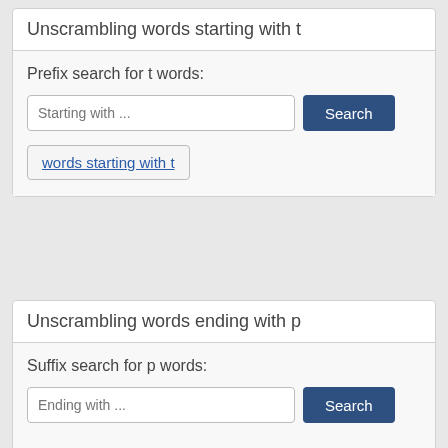Unscrambling words starting with t
Prefix search for t words:
Starting with ...
Search
words starting with t
Unscrambling words ending with p
Suffix search for p words:
Ending with ...
Search